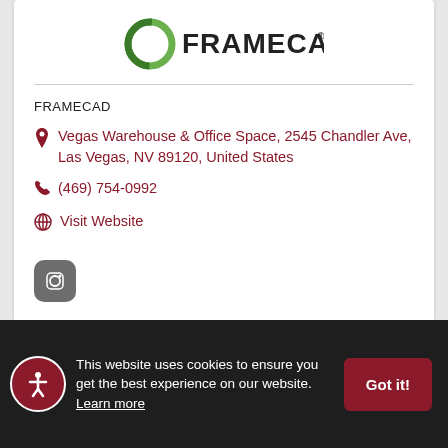[Figure (logo): FRAMECAD logo with green circular ring icon and FRAMECAD® text in dark letters]
FRAMECAD
Vegas Warehouse & Office Space, 2545 Chandler Ave, Las Vegas, NV 89120, United States
(469) 754-0992
Visit Website
[Figure (logo): Small dark grey rounded square social media icon]
This website uses cookies to ensure you get the best experience on our website. Learn more
Got it!